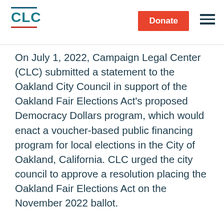CLC
On July 1, 2022, Campaign Legal Center (CLC) submitted a statement to the Oakland City Council in support of the Oakland Fair Elections Act's proposed Democracy Dollars program, which would enact a voucher-based public financing program for local elections in the City of Oakland, California. CLC urged the city council to approve a resolution placing the Oakland Fair Elections Act on the November 2022 ballot.